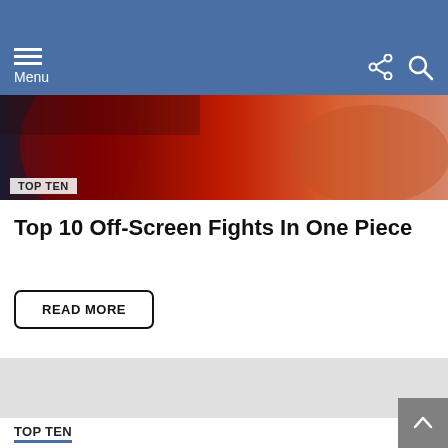Menu
[Figure (illustration): Anime screenshot with TOP TEN badge overlay, showing characters from One Piece with red and orange tones]
Top 10 Off-Screen Fights In One Piece
READ MORE
[Figure (other): Gray placeholder content block]
TOP TEN